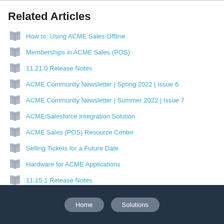Related Articles
How to: Using ACME Sales Offline
Memberships in ACME Sales (POS)
11.21.0 Release Notes
ACME Community Newsletter | Spring 2022 | Issue 6
ACME Community Newsletter | Summer 2022 | Issue 7
ACME/Salesforce Integration Solution
ACME Sales (POS) Resource Center
Selling Tickets for a Future Date
Hardware for ACME Applications
11.15.1 Release Notes
Home  Solutions